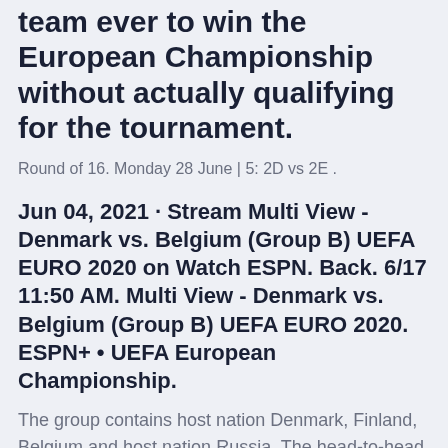England are the only team ever to win the European Championship without actually qualifying for the tournament.
Round of 16. Monday 28 June | 5: 2D vs 2E .
Jun 04, 2021 · Stream Multi View - Denmark vs. Belgium (Group B) UEFA EURO 2020 on Watch ESPN. Back. 6/17 11:50 AM. Multi View - Denmark vs. Belgium (Group B) UEFA EURO 2020. ESPN+ • UEFA European Championship.
The group contains host nation Denmark, Finland, Belgium and host nation Russia. The head-to-head